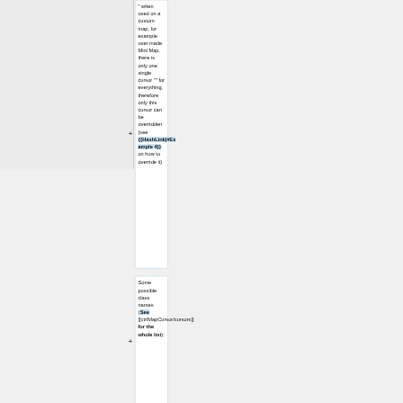" when used on a custom map, for example user made Mini Map, there is only one single cursor "" for everything, therefore only this cursor can be overridden (see {{HashLink|#Example 4}} on how to override it)
Some possible class names (See [[ctrlMapCursor/cursors]] for the whole list):
{{Columns|4|